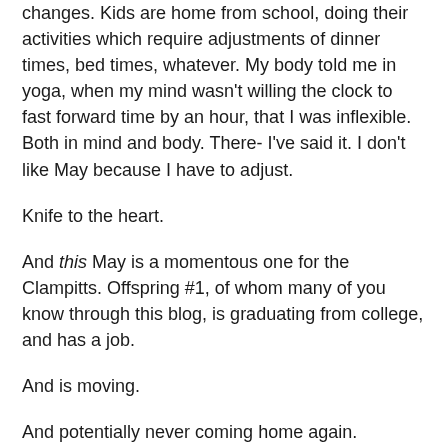changes. Kids are home from school, doing their activities which require adjustments of dinner times, bed times, whatever. My body told me in yoga, when my mind wasn't willing the clock to fast forward time by an hour, that I was inflexible. Both in mind and body. There- I've said it. I don't like May because I have to adjust.
Knife to the heart.
And this May is a momentous one for the Clampitts. Offspring #1, of whom many of you know through this blog, is graduating from college, and has a job.
And is moving.
And potentially never coming home again.
So this May, I'm not just a fire spewing monster, I'm being more dramatic about it.